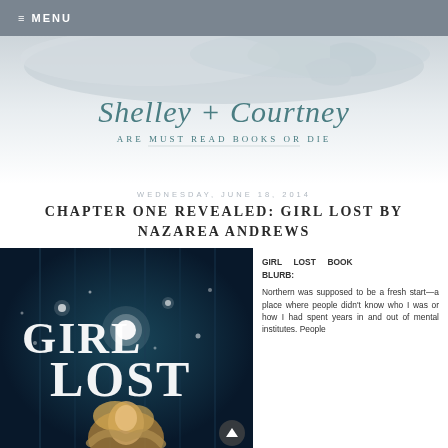≡ MENU
[Figure (illustration): Blog header banner with watercolor clouds and a hand reaching down, script text 'Shelley + Courtney' in teal, subtitle 'are Must Read Books or Die']
WEDNESDAY, JUNE 18, 2014
CHAPTER ONE REVEALED: GIRL LOST BY NAZAREA ANDREWS
[Figure (illustration): Book cover for 'Girl Lost' — dark teal/navy background with starry bokeh lights, large decorative text 'Girl Lost' and a blonde woman underwater looking up]
GIRL LOST BOOK BLURB:
Northern was supposed to be a fresh start—a place where people didn't know who I was or how I had spent years in and out of mental institutes. People